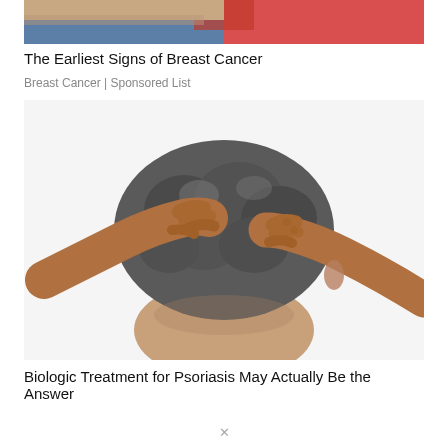[Figure (photo): Partial photo of a person in a pink/red top, cropped at the top of the page]
The Earliest Signs of Breast Cancer
Breast Cancer | Sponsored List
[Figure (photo): Person seen from behind, with elderly hands scratching or gripping their gray curly hair, suggesting scalp condition or psoriasis]
Biologic Treatment for Psoriasis May Actually Be the Answer